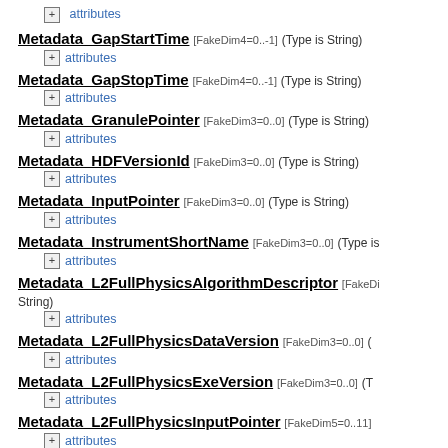+ attributes
Metadata_GapStartTime [FakeDim4=0..-1] (Type is String)
+ attributes
Metadata_GapStopTime [FakeDim4=0..-1] (Type is String)
+ attributes
Metadata_GranulePointer [FakeDim3=0..0] (Type is String)
+ attributes
Metadata_HDFVersionId [FakeDim3=0..0] (Type is String)
+ attributes
Metadata_InputPointer [FakeDim3=0..0] (Type is String)
+ attributes
Metadata_InstrumentShortName [FakeDim3=0..0] (Type is
+ attributes
Metadata_L2FullPhysicsAlgorithmDescriptor [FakeDi... (Type is String)
+ attributes
Metadata_L2FullPhysicsDataVersion [FakeDim3=0..0] (
+ attributes
Metadata_L2FullPhysicsExeVersion [FakeDim3=0..0] (T
+ attributes
Metadata_L2FullPhysicsInputPointer [FakeDim5=0..11]
+ attributes